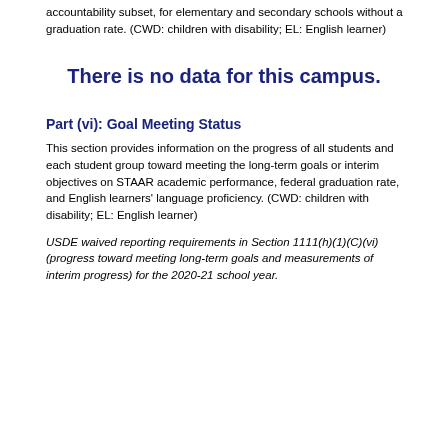accountability subset, for elementary and secondary schools without a graduation rate. (CWD: children with disability; EL: English learner)
There is no data for this campus.
Part (vi): Goal Meeting Status
This section provides information on the progress of all students and each student group toward meeting the long-term goals or interim objectives on STAAR academic performance, federal graduation rate, and English learners' language proficiency. (CWD: children with disability; EL: English learner)
USDE waived reporting requirements in Section 1111(h)(1)(C)(vi) (progress toward meeting long-term goals and measurements of interim progress) for the 2020-21 school year.